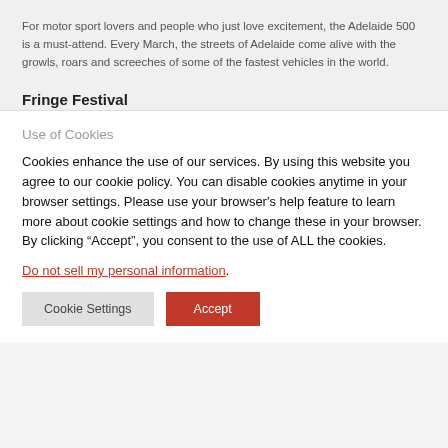For motor sport lovers and people who just love excitement, the Adelaide 500 is a must-attend. Every March, the streets of Adelaide come alive with the growls, roars and screeches of some of the fastest vehicles in the world.
Fringe Festival
Use of Cookies
Cookies enhance the use of our services. By using this website you agree to our cookie policy. You can disable cookies anytime in your browser settings. Please use your browser's help feature to learn more about cookie settings and how to change these in your browser. By clicking “Accept”, you consent to the use of ALL the cookies.
Do not sell my personal information.